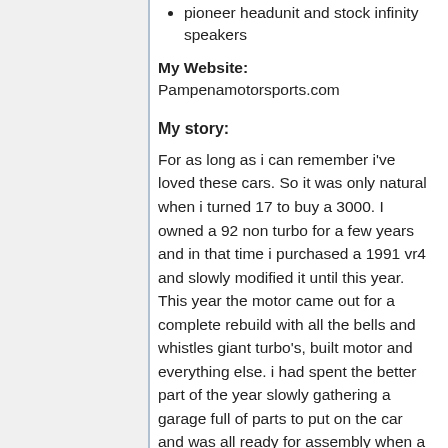pioneer headunit and stock infinity speakers
My Website: Pampenamotorsports.com
My story:
For as long as i can remember i've loved these cars. So it was only natural when i turned 17 to buy a 3000. I owned a 92 non turbo for a few years and in that time i purchased a 1991 vr4 and slowly modified it until this year. This year the motor came out for a complete rebuild with all the bells and whistles giant turbo's, built motor and everything else. i had spent the better part of the year slowly gathering a garage full of parts to put on the car and was all ready for assembly when a customer at work (pampena motorsports) wanted to sell his 1994 vr4. Being the right idea...